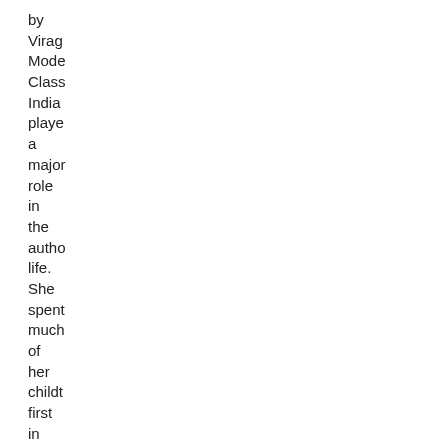by Virag Mode Class India playe a major role in the autho life. She spent much of her childt first in Assar then